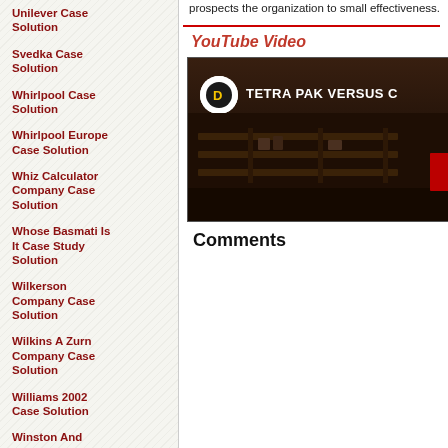Unilever Case Solution
Svedka Case Solution
Whirlpool Case Solution
Whirlpool Europe Case Solution
Whiz Calculator Company Case Solution
Whose Basmati Is It Case Study Solution
Wilkerson Company Case Solution
Wilkins A Zurn Company Case Solution
Williams 2002 Case Solution
Winston And Holmes Case Solution
prospects the organization to small effectiveness.
YouTube Video
[Figure (screenshot): YouTube video thumbnail showing TETRA PAK VERSUS C... title with a dark industrial/warehouse background scene and a circular logo icon on the left.]
Comments